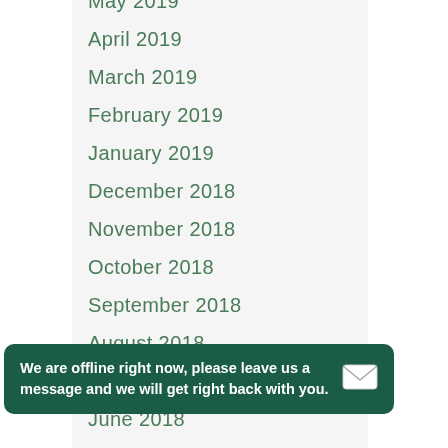May 2019
April 2019
March 2019
February 2019
January 2019
December 2018
November 2018
October 2018
September 2018
August 2018
July 2018
June 2018
May 2018
April 2018
March 2018
February 2018
December 2017
November 2017
We are offline right now, please leave us a message and we will get right back with you.